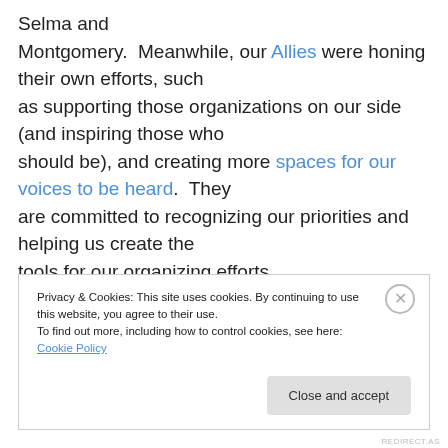Selma and Montgomery.  Meanwhile, our Allies were honing their own efforts, such as supporting those organizations on our side (and inspiring those who should be), and creating more spaces for our voices to be heard.  They are committed to recognizing our priorities and helping us create the tools for our organizing efforts.
Privacy & Cookies: This site uses cookies. By continuing to use this website, you agree to their use.
To find out more, including how to control cookies, see here: Cookie Policy
Close and accept